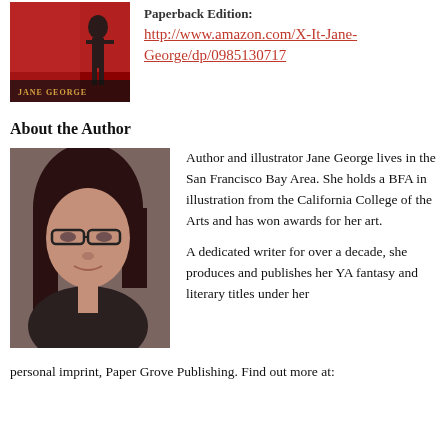[Figure (photo): Book cover showing Jane George in red background with illustrative figure, labeled 'JANE GEORGE']
Paperback Edition:
http://www.amazon.com/X-It-Jane-George/dp/0985130717
About the Author
[Figure (photo): Author photo of Jane George, a woman with dark hair and glasses]
Author and illustrator Jane George lives in the San Francisco Bay Area. She holds a BFA in illustration from the California College of the Arts and has won awards for her art.
A dedicated writer for over a decade, she produces and publishes her YA fantasy and literary titles under her personal imprint, Paper Grove Publishing. Find out more at: